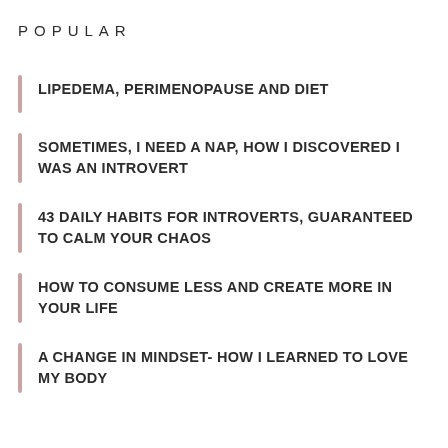POPULAR
LIPEDEMA, PERIMENOPAUSE AND DIET
SOMETIMES, I NEED A NAP, HOW I DISCOVERED I WAS AN INTROVERT
43 DAILY HABITS FOR INTROVERTS, GUARANTEED TO CALM YOUR CHAOS
HOW TO CONSUME LESS AND CREATE MORE IN YOUR LIFE
A CHANGE IN MINDSET- HOW I LEARNED TO LOVE MY BODY